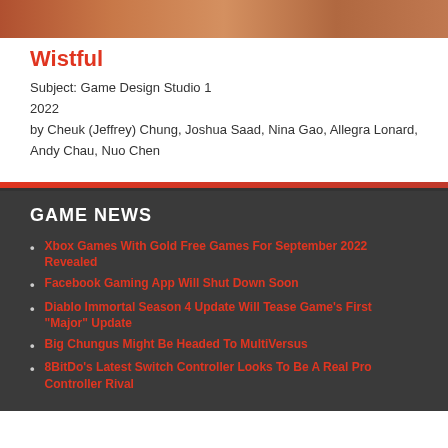[Figure (photo): Partial photo of a game or artwork, cropped at top]
Wistful
Subject: Game Design Studio 1
2022
by Cheuk (Jeffrey) Chung, Joshua Saad, Nina Gao, Allegra Lonard, Andy Chau, Nuo Chen
GAME NEWS
Xbox Games With Gold Free Games For September 2022 Revealed
Facebook Gaming App Will Shut Down Soon
Diablo Immortal Season 4 Update Will Tease Game's First "Major" Update
Big Chungus Might Be Headed To MultiVersus
8BitDo's Latest Switch Controller Looks To Be A Real Pro Controller Rival